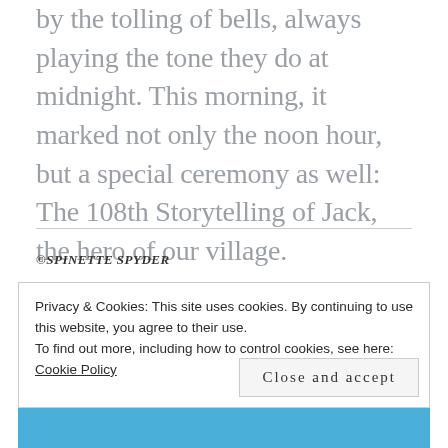by the tolling of bells, always playing the tone they do at midnight. This morning, it marked not only the noon hour, but a special ceremony as well: The 108th Storytelling of Jack, the hero of our village.
©SPINETTE SPYDER
Privacy & Cookies: This site uses cookies. By continuing to use this website, you agree to their use.
To find out more, including how to control cookies, see here: Cookie Policy
Close and accept